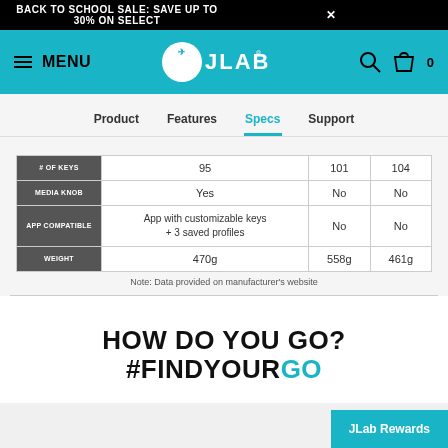BACK TO SCHOOL SALE: SAVE UP TO 30% ON SELECT  ✕
[Figure (screenshot): JLab navigation bar with hamburger menu, MENU text, JLab logo, search icon, and cart icon with 0]
Product   Features   Specs   Support
|  | col1 | col2 | col3 |
| --- | --- | --- | --- |
| # OF KEYS | 95 | 101 | 104 |
| MEDIA KNOB | Yes | No | No |
| APP COMPATIBLE | App with customizable keys + 3 saved profiles | No | No |
| WEIGHT | 470g | 558g | 461g |
Note: Data provided on manufacturer's website
HOW DO YOU GO?
#FINDYOURGO